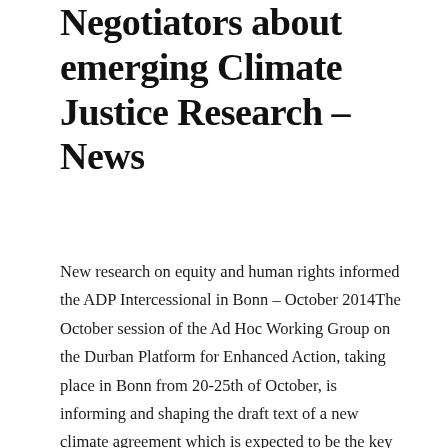Negotiators about emerging Climate Justice Research – News
New research on equity and human rights informed the ADP Intercessional in Bonn – October 2014The October session of the Ad Hoc Working Group on the Durban Platform for Enhanced Action, taking place in Bonn from 20-25th of October, is informing and shaping the draft text of a new climate agreement which is expected to be the key outcome from COP 20 in Lima and is a milestone to the final agreement at COP21 in Paris.  The Mary Robinson Foundation – Climate Justice, used this opportunity to convene a group of 23 senior negotiators representing a range of regional groups